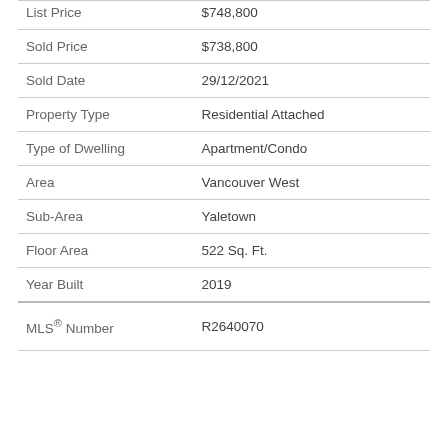| Field | Value |
| --- | --- |
| List Price | $748,800 |
| Sold Price | $738,800 |
| Sold Date | 29/12/2021 |
| Property Type | Residential Attached |
| Type of Dwelling | Apartment/Condo |
| Area | Vancouver West |
| Sub-Area | Yaletown |
| Floor Area | 522 Sq. Ft. |
| Year Built | 2019 |
| MLS® Number | R2640070 |